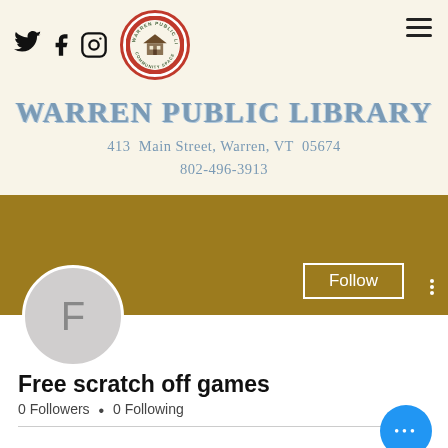Warren Public Library social media page screenshot showing Twitter, Facebook, Instagram icons, library logo, and hamburger menu
WARREN PUBLIC LIBRARY
413 Main Street, Warren, VT 05674
802-496-3913
[Figure (screenshot): Social media profile banner in dark gold/olive color with Follow button and vertical dots menu]
Free scratch off games
0 Followers • 0 Following